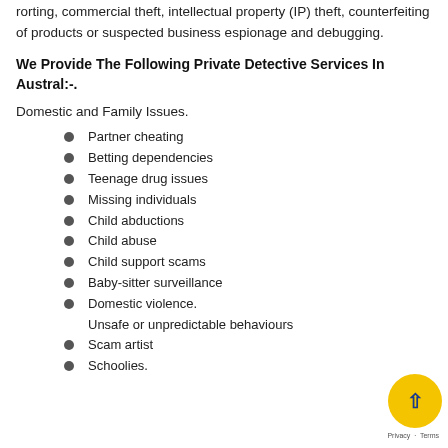rorting, commercial theft, intellectual property (IP) theft, counterfeiting of products or suspected business espionage and debugging.
We Provide The Following Private Detective Services In Austral:-.
Domestic and Family Issues.
Partner cheating
Betting dependencies
Teenage drug issues
Missing individuals
Child abductions
Child abuse
Child support scams
Baby-sitter surveillance
Domestic violence. Unsafe or unpredictable behaviours
Scam artist
Schoolies.